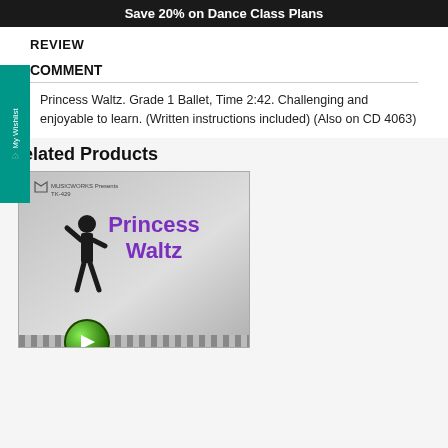Save 20% on Dance Class Plans
REVIEW
COMMENT
Princess Waltz. Grade 1 Ballet, Time 2:42. Challenging and enjoyable to learn. (Written instructions included) (Also on CD 4063)
Related Products
[Figure (photo): CD cover for Princess Waltz showing a dancer silhouette and purple bold title text, with MusicWorks logo in the top left corner and a green play button at the bottom.]